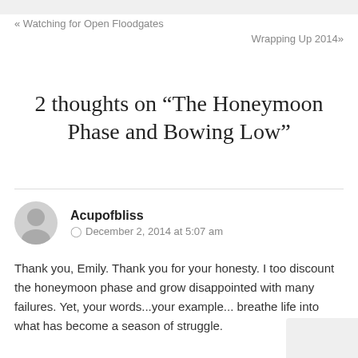« Watching for Open Floodgates
Wrapping Up 2014»
2 thoughts on “The Honeymoon Phase and Bowing Low”
Acupofbliss
December 2, 2014 at 5:07 am
Thank you, Emily. Thank you for your honesty. I too discount the honeymoon phase and grow disappointed with many failures. Yet, your words...your example... breathe life into what has become a season of struggle.